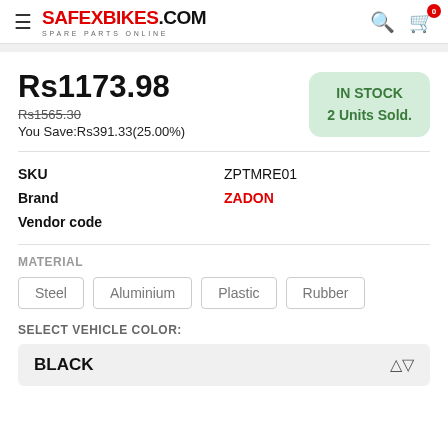SAFEXBIKES.COM SPARE PARTS ONLINE
Rs1173.98
Rs1565.30 You Save:Rs391.33(25.00%)
IN STOCK 2 Units Sold.
| Field | Value |
| --- | --- |
| SKU | ZPTMRE01 |
| Brand | ZADON |
| Vendor code |  |
MATERIAL
Steel  Aluminium  Plastic  Rubber
SELECT VEHICLE COLOR:
BLACK